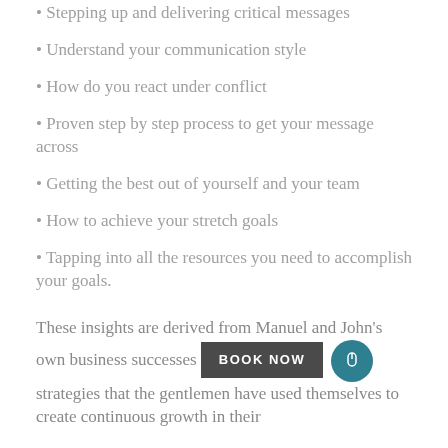• Stepping up and delivering critical messages
• Understand your communication style
• How do you react under conflict
• Proven step by step process to get your message across
• Getting the best out of yourself and your team
• How to achieve your stretch goals
• Tapping into all the resources you need to accomplish your goals.
These insights are derived from Manuel and John's own business successes and strategies that the gentlemen have used themselves to create continuous growth in their